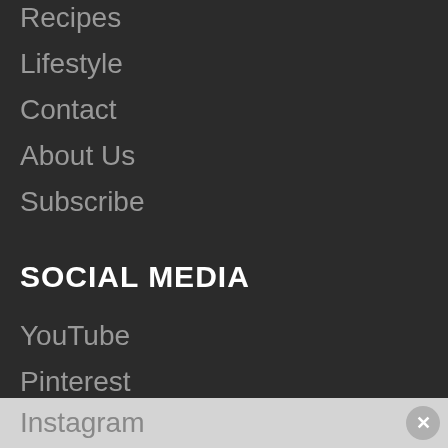Recipes
Lifestyle
Contact
About Us
Subscribe
SOCIAL MEDIA
YouTube
Pinterest
Facebook
Twitter
Instagram